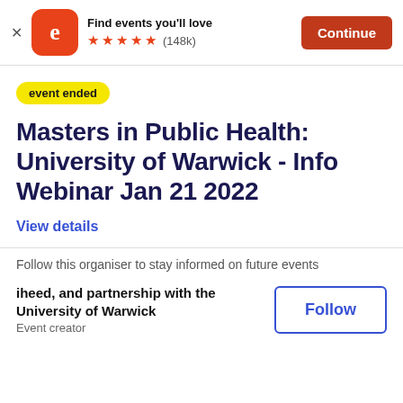[Figure (screenshot): Eventbrite app banner with logo, star rating (148k reviews), and Continue button]
event ended
Masters in Public Health: University of Warwick - Info Webinar Jan 21 2022
View details
Follow this organiser to stay informed on future events
iheed, and partnership with the University of Warwick
Event creator
Follow